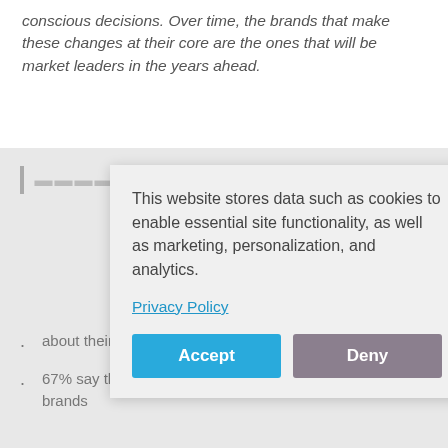conscious decisions. Over time, the brands that make these changes at their core are the ones that will be market leaders in the years ahead.
[partially obscured heading]
[Figure (screenshot): Cookie consent modal dialog with message: 'This website stores data such as cookies to enable essential site functionality, as well as marketing, personalization, and analytics.' with a Privacy Policy link and Accept/Deny buttons.]
about their supply chains and material sourcing
67% say they're happy to pay more for sustainable brands